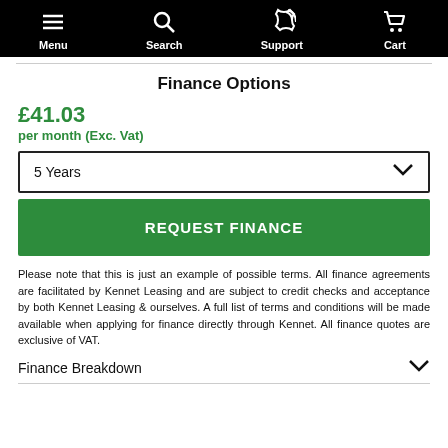Menu | Search | Support | Cart
Finance Options
£41.03
per month (Exc. Vat)
5 Years
REQUEST FINANCE
Please note that this is just an example of possible terms. All finance agreements are facilitated by Kennet Leasing and are subject to credit checks and acceptance by both Kennet Leasing & ourselves. A full list of terms and conditions will be made available when applying for finance directly through Kennet. All finance quotes are exclusive of VAT.
Finance Breakdown